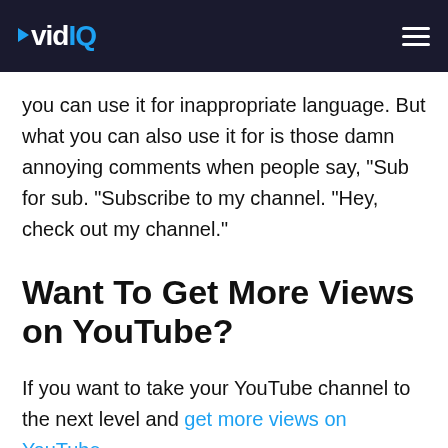vidIQ
you can use it for inappropriate language. But what you can also use it for is those damn annoying comments when people say, "Sub for sub. "Subscribe to my channel. "Hey, check out my channel."
Want To Get More Views on YouTube?
If you want to take your YouTube channel to the next level and get more views on YouTube